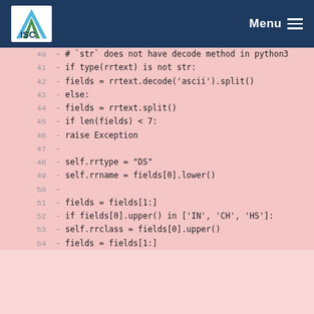ISC  Menu
[Figure (screenshot): Code diff view showing Python code lines 40-54 with deleted lines highlighted in pink. Lines show code for handling rrtext decoding, field splitting, and setting rrtype, rrname, rrclass attributes.]